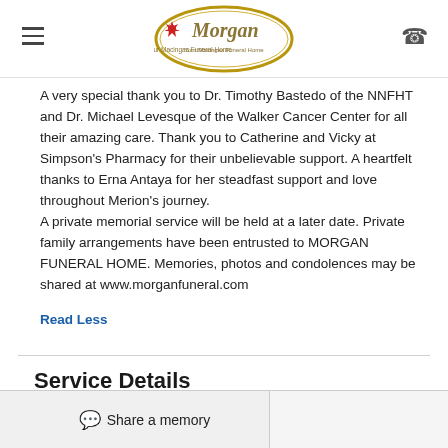Morgan Funeral Home
A very special thank you to Dr. Timothy Bastedo of the NNFHT and Dr. Michael Levesque of the Walker Cancer Center for all their amazing care. Thank you to Catherine and Vicky at Simpson's Pharmacy for their unbelievable support. A heartfelt thanks to Erna Antaya for her steadfast support and love throughout Merion's journey.
A private memorial service will be held at a later date. Private family arrangements have been entrusted to MORGAN FUNERAL HOME. Memories, photos and condolences may be shared at www.morganfuneral.com
Read Less
Service Details
Share a memory